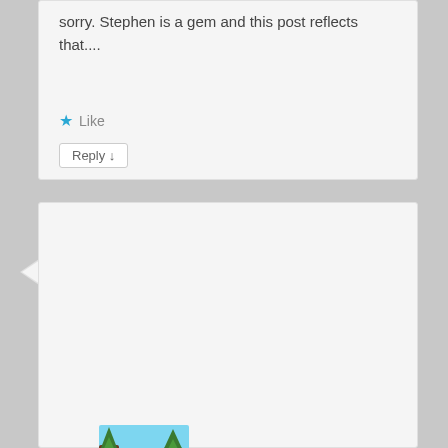sorry. Stephen is a gem and this post reflects that....
★ Like
Reply ↓
[Figure (illustration): Cartoon avatar of a person wearing a dark hat, sunglasses, and green jacket, standing in a forest/outdoor scene with green grass and trees.]
foreverstartingyoga on 2012-12-13 at 03:48 said:
Wow! trully inspirational. I want to share this with everyone in my world and encourage the true spirit of Christmas. Reading this post has definitely motivated me to follow your example. Thank you! 🙂